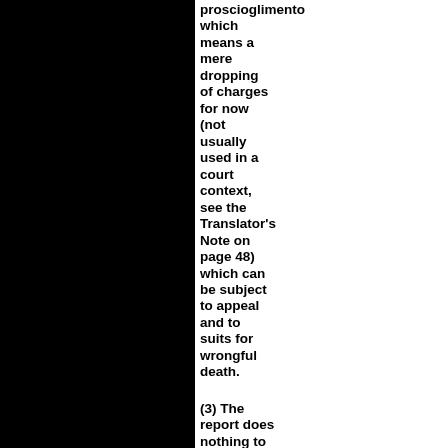proscioglimento which means a mere dropping of charges for now (not usually used in a court context, see the Translator's Note on page 48) which can be subject to appeal and to suits for wrongful death.
(3) The report does nothing to help Knox and